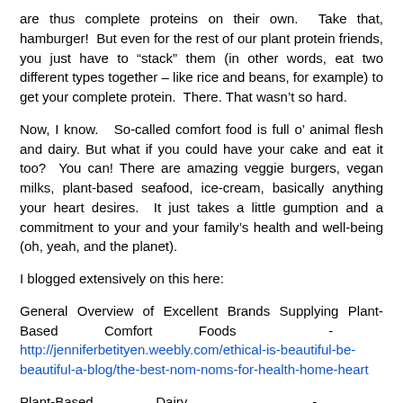are thus complete proteins on their own.  Take that, hamburger!  But even for the rest of our plant protein friends, you just have to “stack” them (in other words, eat two different types together – like rice and beans, for example) to get your complete protein.  There. That wasn’t so hard.
Now, I know.   So-called comfort food is full o’ animal flesh and dairy. But what if you could have your cake and eat it too?  You can! There are amazing veggie burgers, vegan milks, plant-based seafood, ice-cream, basically anything your heart desires.  It just takes a little gumption and a commitment to your and your family’s health and well-being (oh, yeah, and the planet).
I blogged extensively on this here:
General Overview of Excellent Brands Supplying Plant-Based Comfort Foods - http://jenniferbetityen.weebly.com/ethical-is-beautiful-be-beautiful-a-blog/the-best-nom-noms-for-health-home-heart
Plant-Based Dairy - http://jenniferbetityen.weebly.com/ethical-is-beautiful-be-beautiful-a-blog/for-the-love-of-cheese